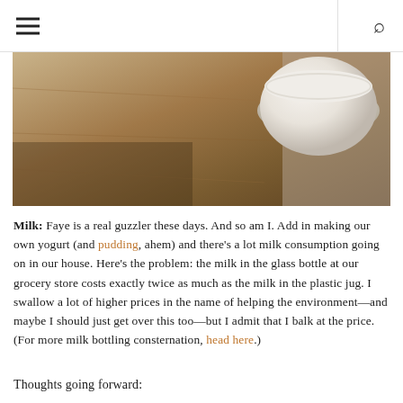☰ [menu] [search]
[Figure (photo): A photograph of a white ceramic bowl or cup on a wooden surface, shot in warm tones with shallow depth of field.]
Milk: Faye is a real guzzler these days. And so am I. Add in making our own yogurt (and pudding, ahem) and there's a lot milk consumption going on in our house. Here's the problem: the milk in the glass bottle at our grocery store costs exactly twice as much as the milk in the plastic jug. I swallow a lot of higher prices in the name of helping the environment—and maybe I should just get over this too—but I admit that I balk at the price. (For more milk bottling consternation, head here.)
Thoughts going forward: